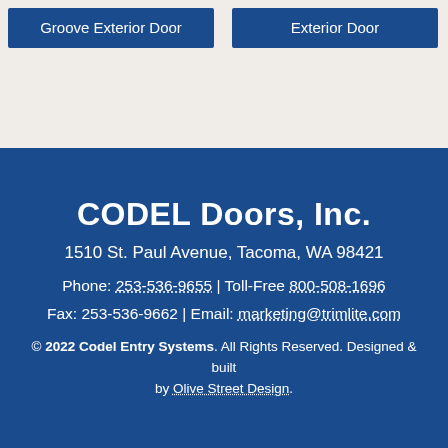Groove Exterior Door
Exterior Door
CODEL Doors, Inc.
1510 St. Paul Avenue, Tacoma, WA 98421
Phone: 253-536-9655 | Toll-Free 800-508-1696
Fax: 253-536-9662 | Email: marketing@trimlite.com
© 2022 Codel Entry Systems. All Rights Reserved. Designed & built by Olive Street Design.